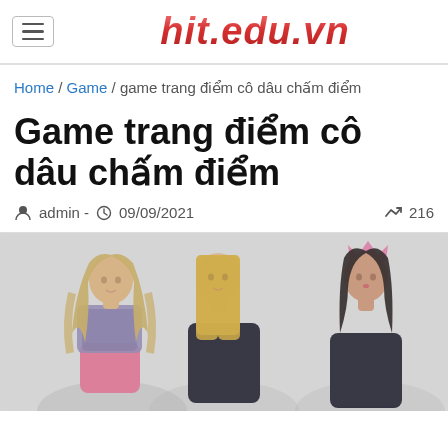hit.edu.vn
Home / Game / game trang điểm cô dâu chấm điểm
Game trang điểm cô dâu chấm điểm
admin - 09/09/2021  216
[Figure (illustration): Three cartoon/illustrated fashion girls side by side; blurred image. Left girl has long wavy blonde hair, floral top, pink skirt. Center girl has straight blonde hair, black jacket. Right girl has dark hair, black jacket, pink accessories.]